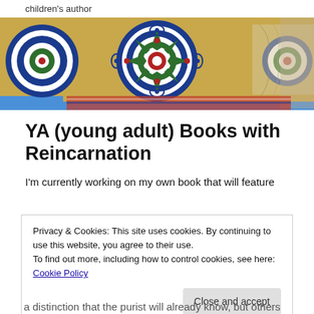children's author
[Figure (photo): Decorative Islamic geometric tile pattern with blue, green, red and white mandala designs on a yellow background, with a peeling paint texture visible on the right side and a red patterned textile at the bottom.]
YA (young adult) Books with Reincarnation
I'm currently working on my own book that will feature
Privacy & Cookies: This site uses cookies. By continuing to use this website, you agree to their use.
To find out more, including how to control cookies, see here: Cookie Policy
a distinction that the purist will already know, but others